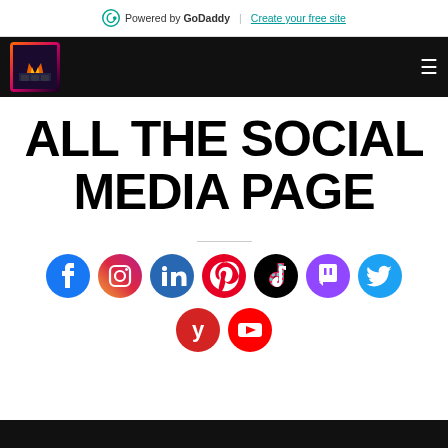Powered by GoDaddy | Create your free site
[Figure (screenshot): Website navigation bar with logo and hamburger menu on dark background]
ALL THE SOCIAL MEDIA PAGE
[Figure (infographic): Social media icons: Facebook, Instagram, LinkedIn, Pinterest, TikTok, Twitch, Twitter, Yelp, YouTube]